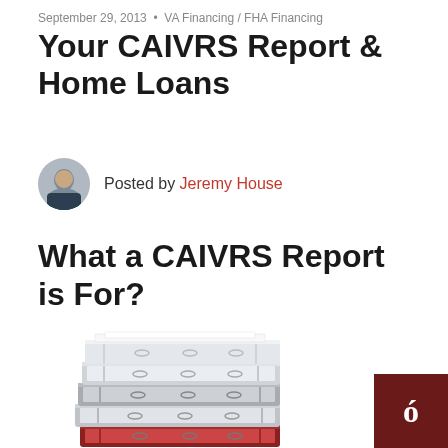September 29, 2013  •  VA Financing / FHA Financing
Your CAIVRS Report & Home Loans
Posted by Jeremy House
What a CAIVRS Report is For?
[Figure (photo): Stack of binders/ring binders filled with documents, photographed on white background]